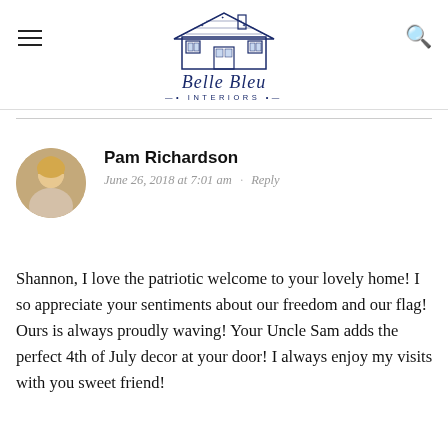[Figure (logo): Belle Bleu Interiors logo with a blue illustrated house above stylized italic script text reading 'Belle Bleu Interiors']
Pam Richardson
June 26, 2018 at 7:01 am · Reply
Shannon, I love the patriotic welcome to your lovely home! I so appreciate your sentiments about our freedom and our flag! Ours is always proudly waving! Your Uncle Sam adds the perfect 4th of July decor at your door! I always enjoy my visits with you sweet friend!